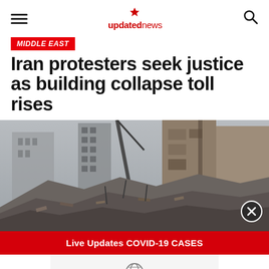updatednews
MIDDLE EAST
Iran protesters seek justice as building collapse toll rises
[Figure (photo): Photo of a collapsed building with rubble and debris in an urban setting; damaged multi-story buildings visible in the background]
Live Updates COVID-19 CASES
World